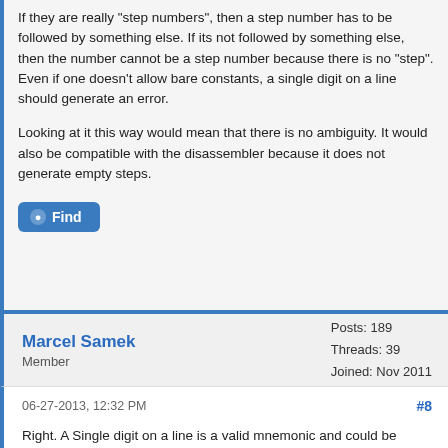If they are really "step numbers", then a step number has to be followed by something else. If its not followed by something else, then the number cannot be a step number because there is no "step". Even if one doesn't allow bare constants, a single digit on a line should generate an error.
Looking at it this way would mean that there is no ambiguity. It would also be compatible with the disassembler because it does not generate empty steps.
Find
Marcel Samek
Member
Posts: 189
Threads: 39
Joined: Nov 2011
06-27-2013, 12:32 PM
#8
Right. A Single digit on a line is a valid mnemonic and could be treated as such instead of being processed as a constant.